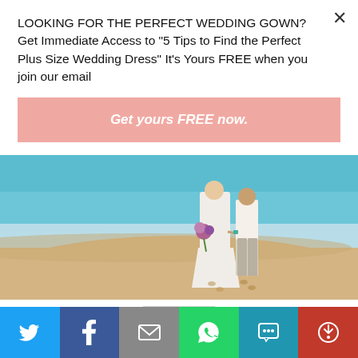LOOKING FOR THE PERFECT WEDDING GOWN? Get Immediate Access to "5 Tips to Find the Perfect Plus Size Wedding Dress" It's Yours FREE when you join our email
Get yours FREE now.
[Figure (photo): A bride in a white dress holding a bouquet of purple flowers walking hand-in-hand with a groom in a white shirt on a sandy beach with turquoise ocean water in the background.]
Travel
TRAVEL | Dream Destination? Make Sure It
[Figure (infographic): Social media share bar with Twitter, Facebook, Email, WhatsApp, SMS, and More buttons]